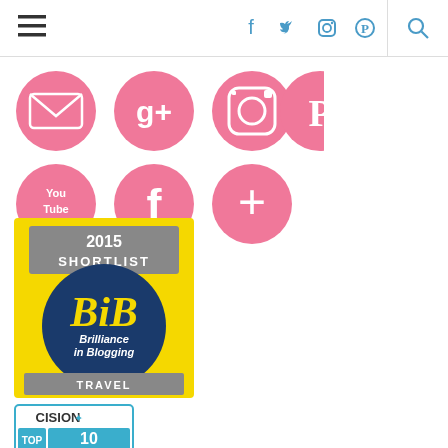Navigation bar with hamburger menu, social icons (Facebook, Twitter, Instagram, Pinterest), and search icon
[Figure (infographic): Social media icon buttons in pink circles: Email, Google+, Instagram, Pinterest (top row); YouTube, Facebook, Google+ add (bottom row)]
[Figure (logo): 2015 Shortlist BIB Brilliance in Blogging Travel badge - yellow and navy blue circular badge with grey banner]
[Figure (logo): Cision Top 10 badge - white badge with blue border, Cision logo at top, TOP 10 text in blue]